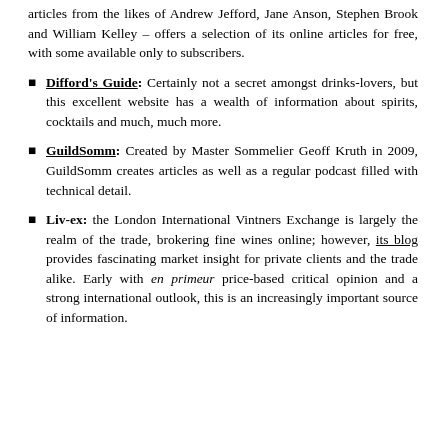articles from the likes of Andrew Jefford, Jane Anson, Stephen Brook and William Kelley – offers a selection of its online articles for free, with some available only to subscribers.
Difford's Guide: Certainly not a secret amongst drinks-lovers, but this excellent website has a wealth of information about spirits, cocktails and much, much more.
GuildSomm: Created by Master Sommelier Geoff Kruth in 2009, GuildSomm creates articles as well as a regular podcast filled with technical detail.
Liv-ex: the London International Vintners Exchange is largely the realm of the trade, brokering fine wines online; however, its blog provides fascinating market insight for private clients and the trade alike. Early with en primeur price-based critical opinion and a strong international outlook, this is an increasingly important source of information.